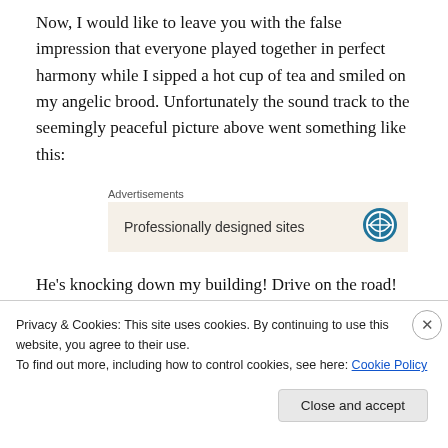Now, I would like to leave you with the false impression that everyone played together in perfect harmony while I sipped a hot cup of tea and smiled on my angelic brood. Unfortunately the sound track to the seemingly peaceful picture above went something like this:
Advertisements
[Figure (other): Advertisement box with beige background showing 'Professionally designed sites' text and a WordPress-like icon]
He's knocking down my building! Drive on the road! DRIVE ON THE ROADS! MUUUUUUUUM THEY"RE NOT
Privacy & Cookies: This site uses cookies. By continuing to use this website, you agree to their use.
To find out more, including how to control cookies, see here: Cookie Policy
Close and accept